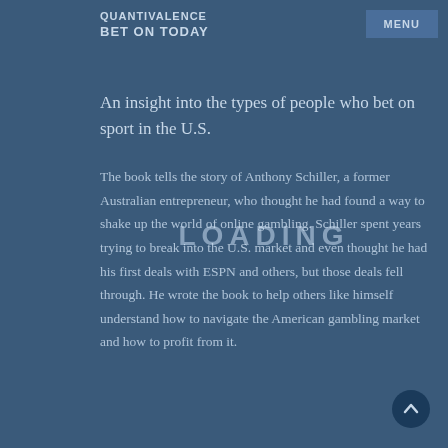QUANTIVALENCE
BET ON TODAY
An insight into the types of people who bet on sport in the U.S.
The book tells the story of Anthony Schiller, a former Australian entrepreneur, who thought he had found a way to shake up the world of online gambling. Schiller spent years trying to break into the U.S. market and even thought he had his first deals with ESPN and others, but those deals fell through. He wrote the book to help others like himself understand how to navigate the American gambling market and how to profit from it.